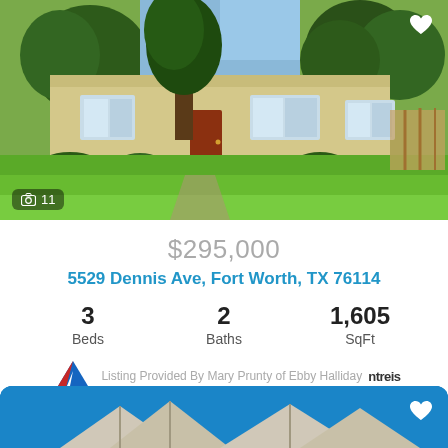[Figure (photo): Front exterior of single-story ranch-style house with large green lawn, mature trees, and yellow/tan siding. Photo count badge showing camera icon and '11'.]
$295,000
5529 Dennis Ave, Fort Worth, TX 76114
3 Beds   2 Baths   1,605 SqFt
Listing Provided By Mary Prunty of Ebby Halliday ntreis
[Figure (photo): Partial view of a second property listing showing rooftops of houses against blue sky background, with heart/favorite icon.]